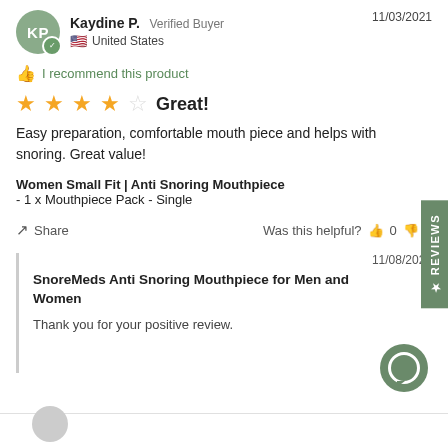Kaydine P. Verified Buyer 11/03/2021 United States
I recommend this product
★★★★☆ Great!
Easy preparation, comfortable mouth piece and helps with snoring. Great value!
Women Small Fit | Anti Snoring Mouthpiece - 1 x Mouthpiece Pack - Single
Share Was this helpful? 0 0
11/08/2021
SnoreMeds Anti Snoring Mouthpiece for Men and Women
Thank you for your positive review.